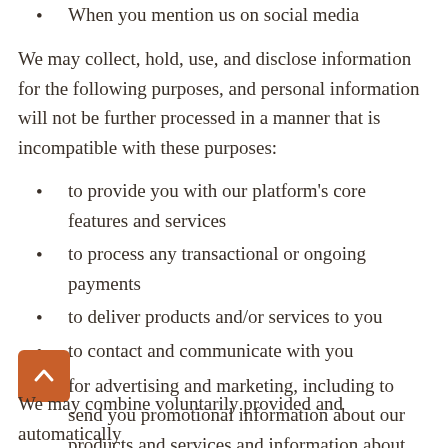When you mention us on social media
We may collect, hold, use, and disclose information for the following purposes, and personal information will not be further processed in a manner that is incompatible with these purposes:
to provide you with our platform's core features and services
to process any transactional or ongoing payments
to deliver products and/or services to you
to contact and communicate with you
for advertising and marketing, including to send you promotional information about our products and services and information about third parties that we consider may be of interest to you
We may combine voluntarily provided and automatically